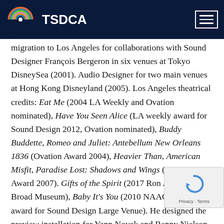TSDCA
migration to Los Angeles for collaborations with Sound Designer François Bergeron in six venues at Tokyo DisneySea (2001). Audio Designer for two main venues at Hong Kong Disneyland (2005). Los Angeles theatrical credits: Eat Me (2004 LA Weekly and Ovation nominated), Have You Seen Alice (LA weekly award for Sound Design 2012, Ovation nominated), Buddy Buddette, Romeo and Juliet: Antebellum New Orleans 1836 (Ovation Award 2004), Heavier Than, American Misfit, Paradise Lost: Shadows and Wings (Ovation Award 2007). Gifts of the Spirit (2017 Ron Athey and the Broad Museum), Baby It's You (2010 NAACP Theatre award for Sound Design Large Venue). He designed the preview installation for Yann Novak and Benny Nielson at the Broad Museum's Skylit, went on to design the Broad's Opening and Happenings Series 2016-2018 and again now in 2022 featuring concert systems for Cory Henry, Quincy Jones, Perfume Genius,